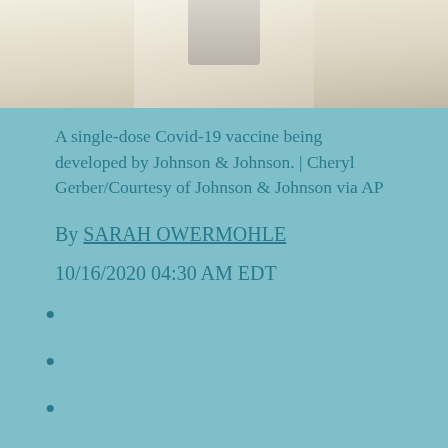[Figure (photo): Partial photo of a single-dose Covid-19 vaccine vial/syringe on a light-colored surface, cropped at top]
A single-dose Covid-19 vaccine being developed by Johnson & Johnson. | Cheryl Gerber/Courtesy of Johnson & Johnson via AP
By SARAH OWERMOHLE
10/16/2020 04:30 AM EDT